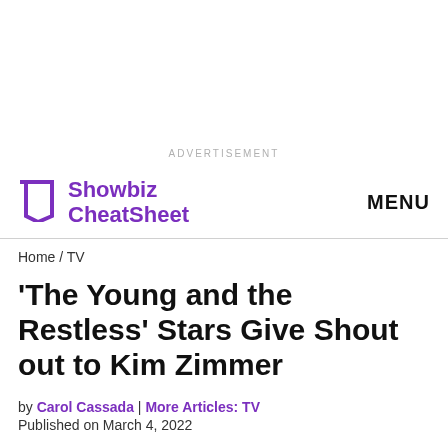ADVERTISEMENT
Showbiz CheatSheet  MENU
Home / TV
'The Young and the Restless' Stars Give Shout out to Kim Zimmer
by Carol Cassada | More Articles: TV
Published on March 4, 2022
Could The Young and the Restless be bringing